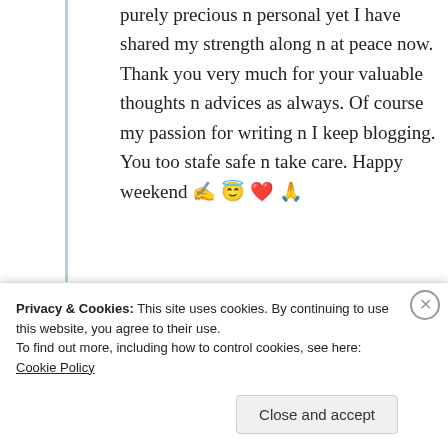purely precious n personal yet I have shared my strength along n at peace now. Thank you very much for your valuable thoughts n advices as always. Of course my passion for writing n I keep blogging. You too stafe safe n take care. Happy weekend ✍️ 😇 ❤️ 🙏
★ Like
Log in to Reply
Privacy & Cookies: This site uses cookies. By continuing to use this website, you agree to their use. To find out more, including how to control cookies, see here: Cookie Policy
Close and accept